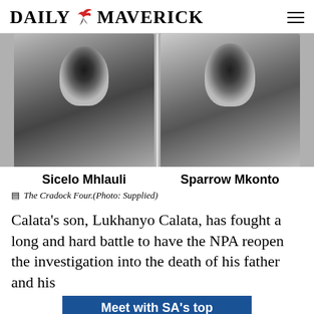DAILY MAVERICK
[Figure (photo): Black and white photograph showing two men side by side — Sicelo Mhlauli on the left and Sparrow Mkonto on the right — members of the Cradock Four.]
Sicelo Mhlauli    Sparrow Mkonto
The Cradock Four.(Photo: Supplied)
Calata's son, Lukhanyo Calata, has fought a long and hard battle to have the NPA reopen the investigation into the death of his father and his
[Figure (illustration): Blue advertisement banner reading 'Meet with SA's top business schools']